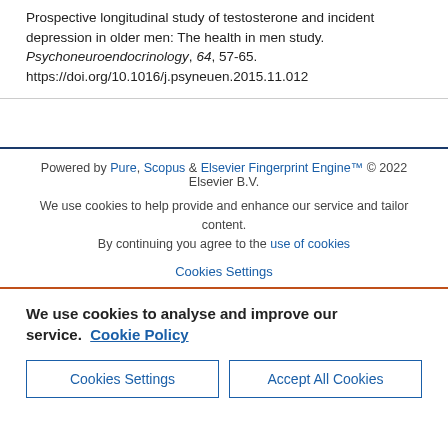Prospective longitudinal study of testosterone and incident depression in older men: The health in men study. Psychoneuroendocrinology, 64, 57-65. https://doi.org/10.1016/j.psyneuen.2015.11.012
Powered by Pure, Scopus & Elsevier Fingerprint Engine™ © 2022 Elsevier B.V.
We use cookies to help provide and enhance our service and tailor content. By continuing you agree to the use of cookies
Cookies Settings
We use cookies to analyse and improve our service. Cookie Policy
Cookies Settings  Accept All Cookies